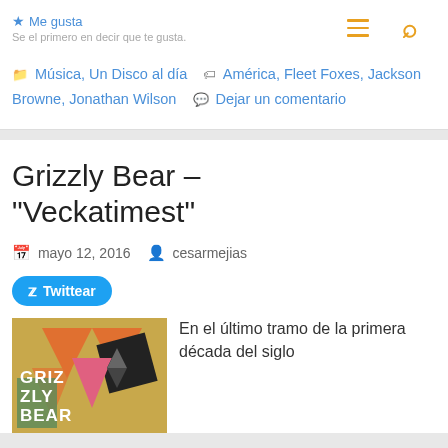★ Me gusta
Se el primero en decir que te gusta.
Música, Un Disco al día   América, Fleet Foxes, Jackson Browne, Jonathan Wilson   Dejar un comentario
Grizzly Bear – "Veckatimest"
mayo 12, 2016   cesarmejias
Twittear
[Figure (photo): Album cover of Grizzly Bear Veckatimest showing colorful geometric art with GRIZZLY BEAR text]
En el último tramo de la primera década del siglo